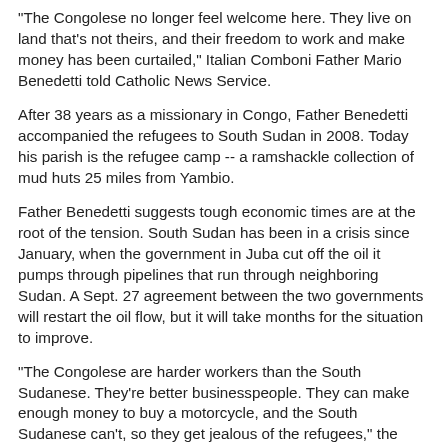"The Congolese no longer feel welcome here. They live on land that's not theirs, and their freedom to work and make money has been curtailed," Italian Comboni Father Mario Benedetti told Catholic News Service.
After 38 years as a missionary in Congo, Father Benedetti accompanied the refugees to South Sudan in 2008. Today his parish is the refugee camp -- a ramshackle collection of mud huts 25 miles from Yambio.
Father Benedetti suggests tough economic times are at the root of the tension. South Sudan has been in a crisis since January, when the government in Juba cut off the oil it pumps through pipelines that run through neighboring Sudan. A Sept. 27 agreement between the two governments will restart the oil flow, but it will take months for the situation to improve.
"The Congolese are harder workers than the South Sudanese. They're better businesspeople. They can make enough money to buy a motorcycle, and the South Sudanese can't, so they get jealous of the refugees," the priest said.
Authorities have closed a market the refugees opened in the middle of their camp, forcing them to cross the road to buy basic supplies in a Sudanese market. Father Benedetti said the police had prohibited the Congolese from selling bags of charcoal along the road.